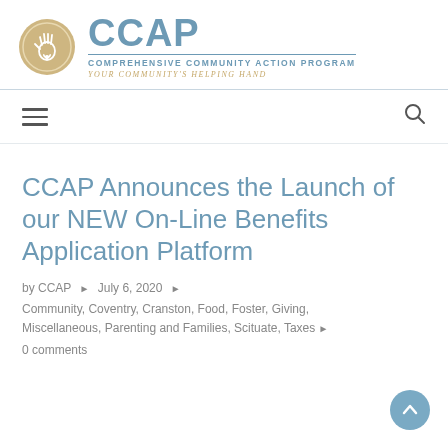[Figure (logo): CCAP logo: gold circle with white hand and heart icon, next to bold blue-grey CCAP text, subtitle COMPREHENSIVE COMMUNITY ACTION PROGRAM, tagline YOUR COMMUNITY'S HELPING HAND]
[Figure (other): Navigation bar with hamburger menu icon on left and search icon on right]
CCAP Announces the Launch of our NEW On-Line Benefits Application Platform
by CCAP ▸ July 6, 2020 ▸
Community, Coventry, Cranston, Food, Foster, Giving, Miscellaneous, Parenting and Families, Scituate, Taxes ▸
0 comments